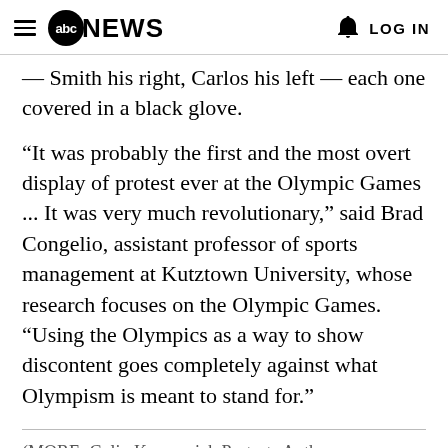abc NEWS  LOG IN
— Smith his right, Carlos his left — each one covered in a black glove.
“It was probably the first and the most overt display of protest ever at the Olympic Games ... It was very much revolutionary,” said Brad Congelio, assistant professor of sports management at Kutztown University, whose research focuses on the Olympic Games. “Using the Olympics as a way to show discontent goes completely against what Olympism is meant to stand for.”
(MORE: Colin Kaepernick Protests Anthem